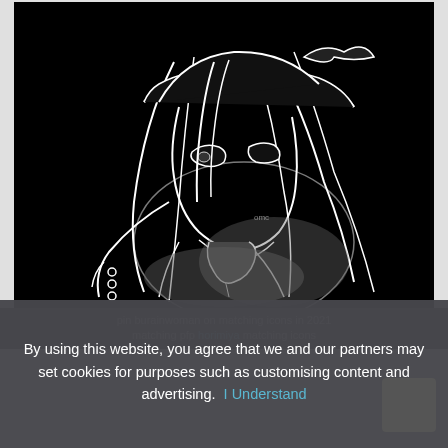[Figure (illustration): Black and white anime-style illustration of a girl with long dark hair wearing a baseball cap, drawn with white outlines on black background. She appears to be in a side/three-quarter pose, holding something in her hands, wearing a school uniform-like outfit.]
pin burainwoman on matching icons in 2021 matching pfp horimiya matching icons
By using this website, you agree that we and our partners may set cookies for purposes such as customising content and advertising.  I Understand